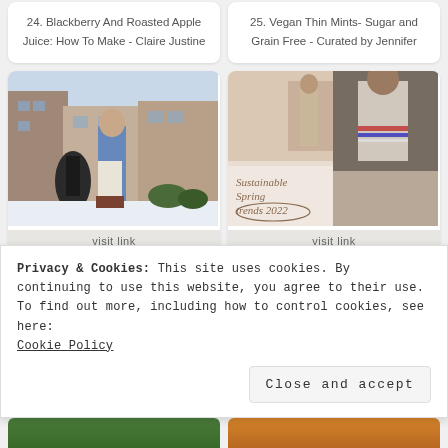24. Blackberry And Roasted Apple Juice: How To Make - Claire Justine
25. Vegan Thin Mints- Sugar and Grain Free - Curated by Jennifer
[Figure (photo): Woman in blue top standing outdoors near fountain with snow on ground, urban setting]
visit link
[Figure (photo): Fashion collage with two women wearing sustainable spring outfits, text reads 'Sustainable Spring trends 2022']
visit link
Privacy & Cookies: This site uses cookies. By continuing to use this website, you agree to their use.
To find out more, including how to control cookies, see here:
Cookie Policy
Close and accept